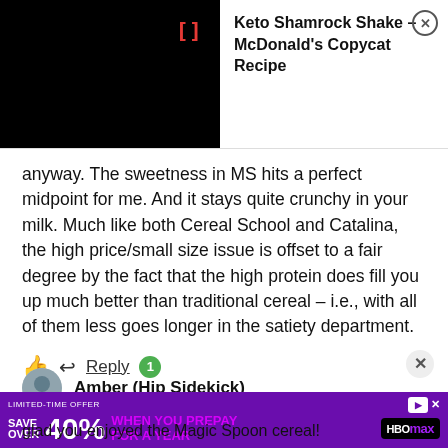[Figure (screenshot): Notification bar with black thumbnail image and red bracket icon, showing title 'Keto Shamrock Shake – McDonald's Copycat Recipe' with close button]
anyway. The sweetness in MS hits a perfect midpoint for me. And it stays quite crunchy in your milk. Much like both Cereal School and Catalina, the high price/small size issue is offset to a fair degree by the fact that the high protein does fill you up much better than traditional cereal – i.e., with all of them less goes longer in the satiety department.
[Figure (screenshot): Comment action icons: thumbs up, reply arrow, Reply link with green badge showing '1', and close X button]
Amber (Hip Sidekick)
[Figure (screenshot): HBO Max advertisement banner: 'SAVE OVER 40% WHEN YOU PREPAY FOR A YEAR' on purple background]
glad you enjoyed the Magic Spoon cereal!